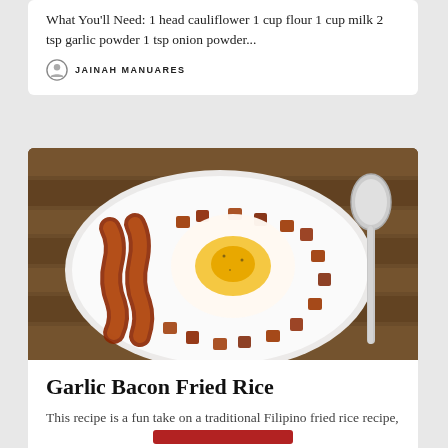What You'll Need: 1 head cauliflower 1 cup flour 1 cup milk 2 tsp garlic powder 1 tsp onion powder...
JAINAH MANUARES
[Figure (photo): A white plate on a wooden table with a fried egg in the center, strips of bacon on the left, and diced/chopped bacon pieces arranged around, with a spoon visible on the right side.]
Garlic Bacon Fried Rice
This recipe is a fun take on a traditional Filipino fried rice recipe, but this time with a whole lot...
TYSON EDIGER